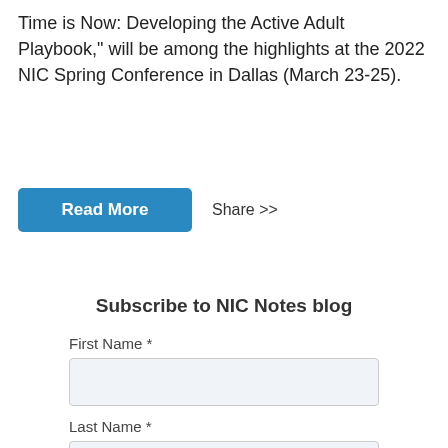Time is Now: Developing the Active Adult Playbook," will be among the highlights at the 2022 NIC Spring Conference in Dallas (March 23-25).
[Figure (other): Blue 'Read More' button and 'Share >>' text link]
Subscribe to NIC Notes blog
First Name *
Last Name *